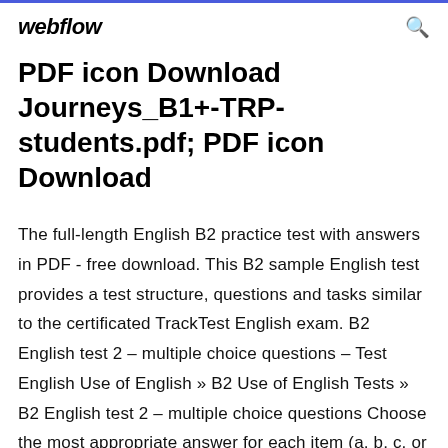webflow
PDF icon Download Journeys_B1+-TRP-students.pdf; PDF icon Download
The full-length English B2 practice test with answers in PDF - free download. This B2 sample English test provides a test structure, questions and tasks similar to the certificated TrackTest English exam. B2 English test 2 – multiple choice questions – Test English Use of English » B2 Use of English Tests » B2 English test 2 – multiple choice questions Choose the most appropriate answer for each item (a, b, c, or d). Feedback is provided after submitting your answers. English Level Test with answers